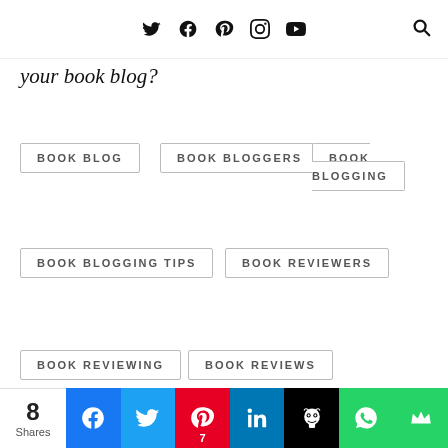Twitter Facebook Pinterest Instagram YouTube [Search]
your book blog?
BOOK BLOG
BOOK BLOGGERS
BOOK BLOGGING
BOOK BLOGGING TIPS
BOOK REVIEWERS
BOOK REVIEWING
BOOK REVIEWS
CAN YOU TRUST BOOK BLOGGERS
JO LINSDELL
8 Shares — Facebook, Twitter, Pinterest (7), LinkedIn, Hootsuite, WhatsApp, Crown